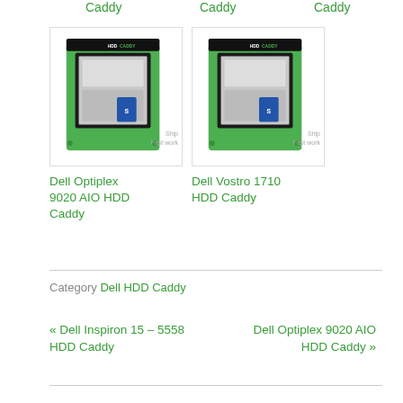Caddy   Caddy   Caddy
[Figure (photo): Dell Optiplex 9020 AIO HDD Caddy product photo showing a green HDD caddy enclosure with a hard drive]
Dell Optiplex 9020 AIO HDD Caddy
[Figure (photo): Dell Vostro 1710 HDD Caddy product photo showing a green HDD caddy enclosure with a hard drive]
Dell Vostro 1710 HDD Caddy
Category Dell HDD Caddy
« Dell Inspiron 15 – 5558 HDD Caddy
Dell Optiplex 9020 AIO HDD Caddy »